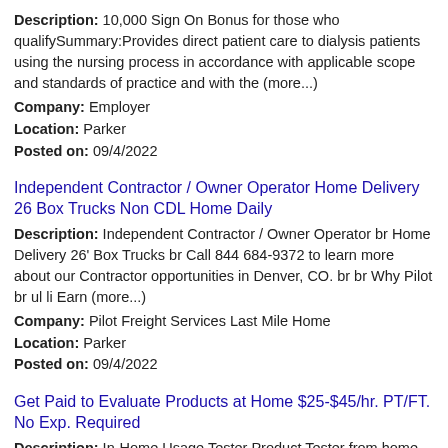Description: 10,000 Sign On Bonus for those who qualifySummary:Provides direct patient care to dialysis patients using the nursing process in accordance with applicable scope and standards of practice and with the (more...)
Company: Employer
Location: Parker
Posted on: 09/4/2022
Independent Contractor / Owner Operator Home Delivery 26 Box Trucks Non CDL Home Daily
Description: Independent Contractor / Owner Operator br Home Delivery 26' Box Trucks br Call 844 684-9372 to learn more about our Contractor opportunities in Denver, CO. br br Why Pilot br ul li Earn (more...)
Company: Pilot Freight Services Last Mile Home
Location: Parker
Posted on: 09/4/2022
Get Paid to Evaluate Products at Home $25-$45/hr. PT/FT. No Exp. Required
Description: In-Home Usage Tester Product Tester from home Compensation: 25- 45/hrPart-time, No Experience RequiredWe're recruiting Product Testers to work from home nationwide in the US to fulfill upcoming contracts (more...)